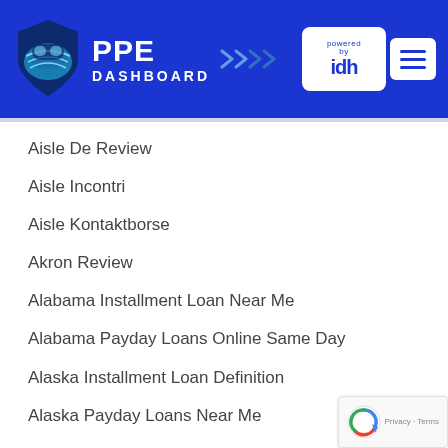[Figure (logo): PPE Dashboard logo with shield icon and 'powered by idh' badge, blue header with hamburger menu]
Aisle De Review
Aisle Incontri
Aisle Kontaktborse
Akron Review
Alabama Installment Loan Near Me
Alabama Payday Loans Online Same Day
Alaska Installment Loan Definition
Alaska Payday Loans Near Me